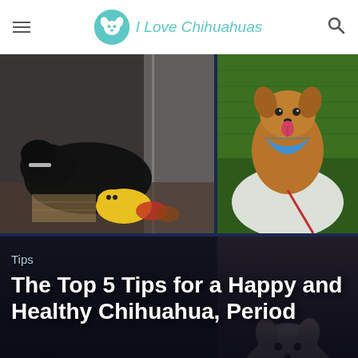I Love Chihuahuas
[Figure (photo): Photo collage of chihuahuas: top-left shows a black chihuahua lying down with yellow stuffed toy; top-right shows a tan chihuahua wearing a blue bandana standing on green turf; bottom shows two more chihuahuas partially visible]
Tips
The Top 5 Tips for a Happy and Healthy Chihuahua, Period